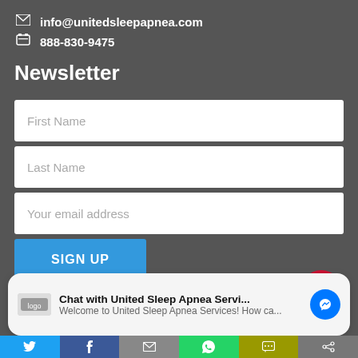info@unitedsleepapnea.com
888-830-9475
Newsletter
First Name
Last Name
Your email address
SIGN UP
Chat with United Sleep Apnea Servi... Welcome to United Sleep Apnea Services! How ca...